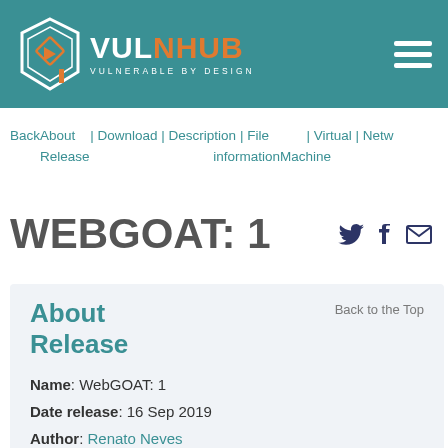VulnHub — VULNERABLE BY DESIGN
Back About | Download | Description | File information | Virtual Machine | Netw Release
WEBGOAT: 1
About Release
Back to the Top
Name: WebGOAT: 1
Date release: 16 Sep 2019
Author: Renato Neves
Series: WebGOAT